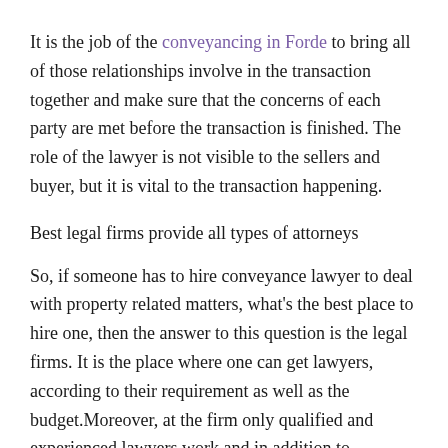It is the job of the conveyancing in Forde to bring all of those relationships involve in the transaction together and make sure that the concerns of each party are met before the transaction is finished. The role of the lawyer is not visible to the sellers and buyer, but it is vital to the transaction happening.
Best legal firms provide all types of attorneys
So, if someone has to hire conveyance lawyer to deal with property related matters, what's the best place to hire one, then the answer to this question is the legal firms. It is the place where one can get lawyers, according to their requirement as well as the budget.Moreover, at the firm only qualified and experienced lawyers work and in addition to conveyance lawyer, one get a number of other lawyers at the place, such as family law solicitors, criminal lawyers, lawyers in civil cases and many more. However, at the same time, one should ensure that the help